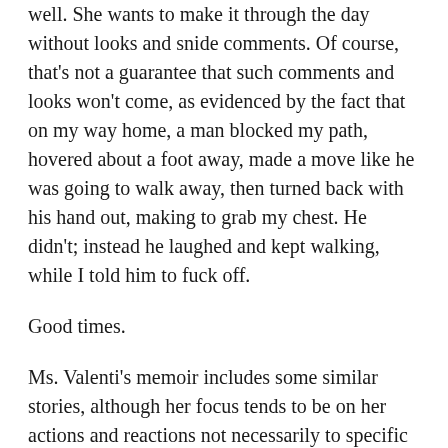well. She wants to make it through the day without looks and snide comments. Of course, that's not a guarantee that such comments and looks won't come, as evidenced by the fact that on my way home, a man blocked my path, hovered about a foot away, made a move like he was going to walk away, then turned back with his hand out, making to grab my chest. He didn't; instead he laughed and kept walking, while I told him to fuck off.
Good times.
Ms. Valenti's memoir includes some similar stories, although her focus tends to be on her actions and reactions not necessarily to specific instances, but on how those instances are part of a larger, non-stop cacophony of shit that women deal with. Teachers who turn out to be creepers. Authority figures who don't take threats to women seriously. Men who rape unconscious women but don't really see anything wrong with it (*cough* Brock Turner *cough*), men who whip out their penises on subways or rub up against women on